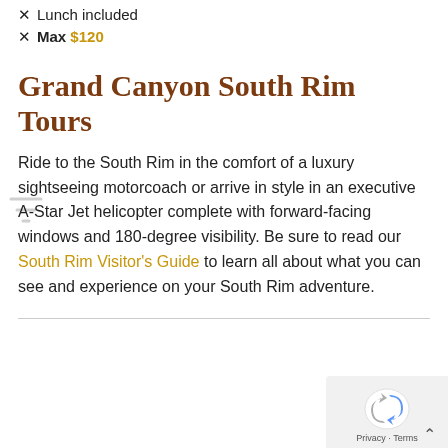✕ Lunch included
✕ Max $120
Grand Canyon South Rim Tours
Ride to the South Rim in the comfort of a luxury sightseeing motorcoach or arrive in style in an executive A-Star Jet helicopter complete with forward-facing windows and 180-degree visibility. Be sure to read our South Rim Visitor's Guide to learn all about what you can see and experience on your South Rim adventure.